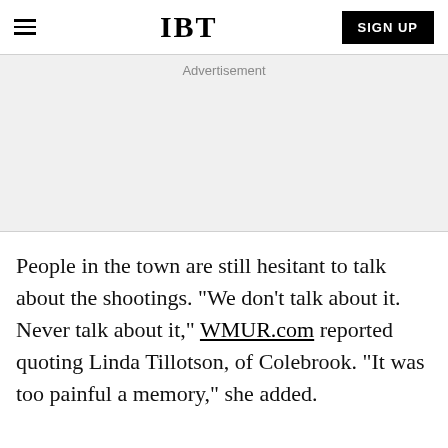IBT | SIGN UP
Advertisement
People in the town are still hesitant to talk about the shootings. "We don't talk about it. Never talk about it," WMUR.com reported quoting Linda Tillotson, of Colebrook. "It was too painful a memory," she added.